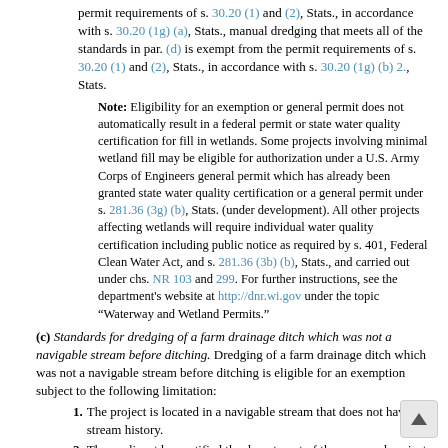permit requirements of s. 30.20 (1) and (2), Stats., in accordance with s. 30.20 (1g) (a), Stats., manual dredging that meets all of the standards in par. (d) is exempt from the permit requirements of s. 30.20 (1) and (2), Stats., in accordance with s. 30.20 (1g) (b) 2., Stats.
Note: Eligibility for an exemption or general permit does not automatically result in a federal permit or state water quality certification for fill in wetlands. Some projects involving minimal wetland fill may be eligible for authorization under a U.S. Army Corps of Engineers general permit which has already been granted state water quality certification or a general permit under s. 281.36 (3g) (b), Stats. (under development). All other projects affecting wetlands will require individual water quality certification including public notice as required by s. 401, Federal Clean Water Act, and s. 281.36 (3b) (b), Stats., and carried out under chs. NR 103 and 299. For further instructions, see the department's website at http://dnr.wi.gov under the topic “Waterway and Wetland Permits.”
(c) Standards for dredging of a farm drainage ditch which was not a navigable stream before ditching. Dredging of a farm drainage ditch which was not a navigable stream before ditching is eligible for an exemption subject to the following limitation:
1. The project is located in a navigable stream that does not have stream history.
2. The applicant has notified the department of the proposed project 10 days prior to dredging.